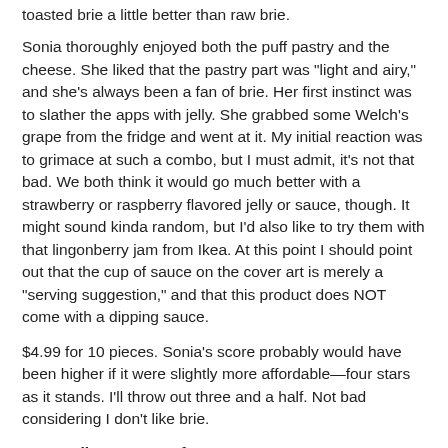toasted brie a little better than raw brie.
Sonia thoroughly enjoyed both the puff pastry and the cheese. She liked that the pastry part was "light and airy," and she's always been a fan of brie. Her first instinct was to slather the apps with jelly. She grabbed some Welch's grape from the fridge and went at it. My initial reaction was to grimace at such a combo, but I must admit, it's not that bad. We both think it would go much better with a strawberry or raspberry flavored jelly or sauce, though. It might sound kinda random, but I'd also like to try them with that lingonberry jam from Ikea. At this point I should point out that the cup of sauce on the cover art is merely a "serving suggestion," and that this product does NOT come with a dipping sauce.
$4.99 for 10 pieces. Sonia's score probably would have been higher if it were slightly more affordable—four stars as it stands. I'll throw out three and a half. Not bad considering I don't like brie.
Bottom line: 7.5 out of 10.